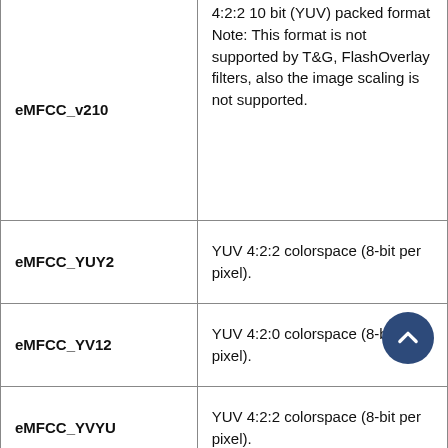| Constant | Description |
| --- | --- |
| eMFCC_v210 | 4:2:2 10 bit (YUV) packed format
Note: This format is not supported by T&G, FlashOverlay filters, also the image scaling is not supported. |
| eMFCC_YUY2 | YUV 4:2:2 colorspace (8-bit per pixel). |
| eMFCC_YV12 | YUV 4:2:0 colorspace (8-bit per pixel). |
| eMFCC_YVYU | YUV 4:2:2 colorspace (8-bit per pixel). |
| ePX_10bit | Bits flags |
| ePX_12bit | Bits flags |
| ePX_16bit | Bits flags |